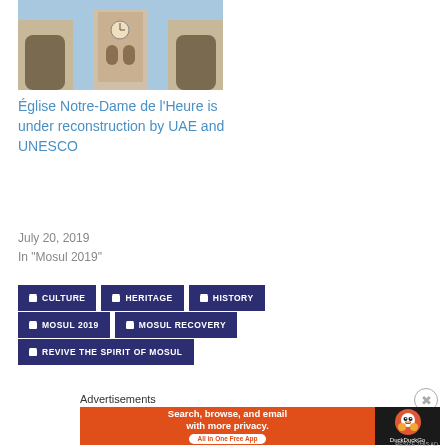[Figure (photo): Stone church ruins with arched openings and a clock tower under blue sky]
Église Notre-Dame de l'Heure is under reconstruction by UAE and UNESCO
July 20, 2019
In "Mosul 2019"
CULTURE
HERITAGE
HISTORY
MOSUL 2019
MOSUL RECOVERY
REVIVE THE SPIRIT OF MOSUL
Advertisements
[Figure (screenshot): DuckDuckGo advertisement banner: Search, browse, and email with more privacy. All in One Free App.]